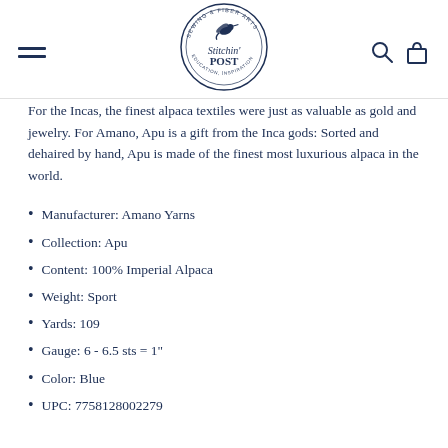[Figure (logo): Stitchin' Post logo — circular badge with a hummingbird, text 'SEWING & FIBER ARTS' around the top, 'Stitchin' POST' in center, 'EDUCATION, INSPIRATION & CREATIVITY' around the bottom]
For the Incas, the finest alpaca textiles were just as valuable as gold and jewelry. For Amano, Apu is a gift from the Inca gods: Sorted and dehaired by hand, Apu is made of the finest most luxurious alpaca in the world.
Manufacturer: Amano Yarns
Collection: Apu
Content: 100% Imperial Alpaca
Weight: Sport
Yards: 109
Gauge: 6 - 6.5 sts = 1"
Color: Blue
UPC: 7758128002279